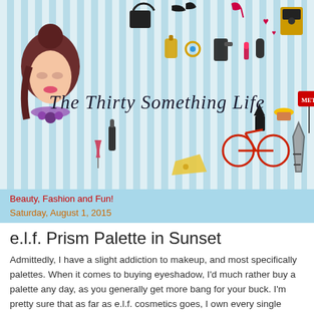[Figure (illustration): Blog header banner with blue and white vertical stripes background, decorative fashion/lifestyle icons (handbag, shoes, perfume, bicycle, Eiffel Tower, metro sign, cupcakes, makeup items, dress, wine), illustrated woman face with dark hair bun, and cursive blog title 'The Thirty Something Life' in the center.]
Beauty, Fashion and Fun!
Saturday, August 1, 2015
e.l.f. Prism Palette in Sunset
Admittedly, I have a slight addiction to makeup, and most specifically palettes. When it comes to buying eyeshadow, I'd much rather buy a palette any day, as you generally get more bang for your buck. I'm pretty sure that as far as e.l.f. cosmetics goes, I own every single palette by the brand. In all fairness, my husband